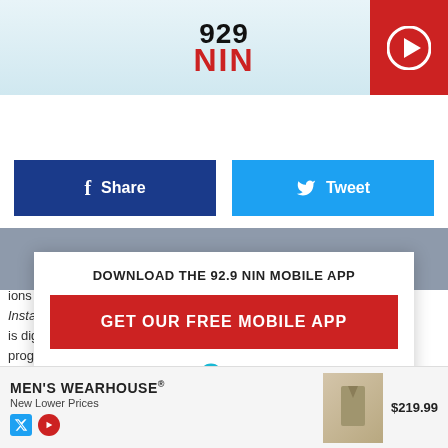929 NIN - The Kidd Kraddick Morning Show - Live
LISTEN NOW ▶  THE KIDD KRADDICK MORNING SHOW - LIVE
[Figure (screenshot): Share and Tweet social media buttons]
DOWNLOAD THE 92.9 NIN MOBILE APP
GET OUR FREE MOBILE APP
Also listen on: amazon alexa
ions with the above-noted information. In a similar manner, however, Instant Pay simulcasted will stream on time-shift is digital... crime and justice programming, including reality-television and docudramas.
The Ur... ow
[Figure (screenshot): Men's Wearhouse advertisement showing a suit jacket priced at $219.99]